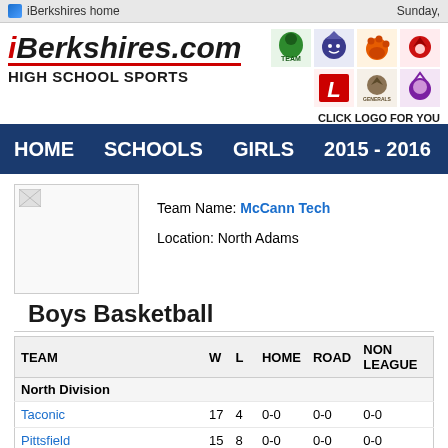iBerkshires home    Sunday,
[Figure (logo): iBerkshires.com High School Sports logo with red underline and team mascot logos on right]
CLICK LOGO FOR YOU
HOME   SCHOOLS   GIRLS   2015 - 2016
Team Name: McCann Tech
Location: North Adams
Boys Basketball
| TEAM | W | L | HOME | ROAD | NON LEAGUE |
| --- | --- | --- | --- | --- | --- |
| North Division |  |  |  |  |  |
| Taconic | 17 | 4 | 0-0 | 0-0 | 0-0 |
| Pittsfield | 15 | 8 | 0-0 | 0-0 | 0-0 |
| Hoosac Valley | 15 | 9 | 0-0 | 0-0 | 0-0 |
| Drury | 12 | 10 | 0-0 | 0-0 | 0-0 |